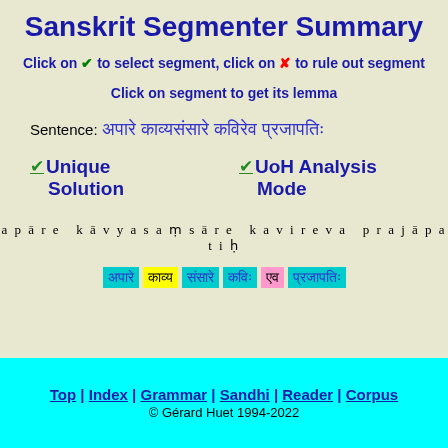Sanskrit Segmenter Summary
Click on ✔ to select segment, click on ✘ to rule out segment
Click on segment to get its lemma
Sentence: [Devanagari text]
✔Unique Solution   ✔UoH Analysis Mode
apāre kāvyasaṃsāre kavireva prajāpatiḥ
Top | Index | Grammar | Sandhi | Reader | Corpus
© Gérard Huet 1994-2022